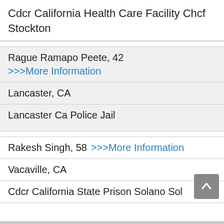Cdcr California Health Care Facility Chcf Stockton
Rague Ramapo Peete, 42
>>>More Information
Lancaster, CA
Lancaster Ca Police Jail
Rakesh Singh, 58 >>>More Information
Vacaville, CA
Cdcr California State Prison Solano Sol